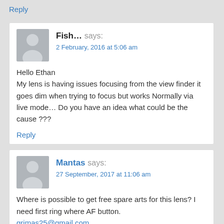Reply
Fish... says:
2 February, 2016 at 5:06 am
Hello Ethan
My lens is having issues focusing from the view finder it goes dim when trying to focus but works Normally via live mode… Do you have an idea what could be the cause ???
Reply
Mantas says:
27 September, 2017 at 11:06 am
Where is possible to get free spare arts for this lens? I need first ring where AF button.
grimas25@gmail.com